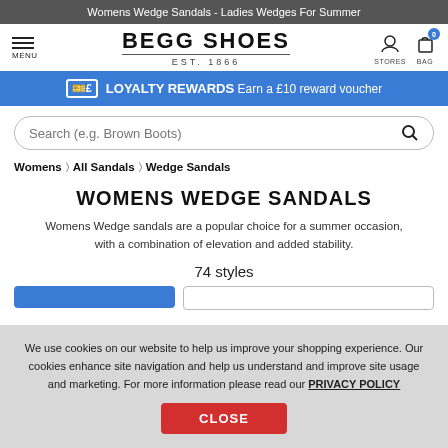Womens Wedge Sandals - Ladies Wedges For Summer
[Figure (logo): Begg Shoes logo with EST. 1866]
LOYALTY REWARDS Earn a £10 reward voucher
Search (e.g. Brown Boots)
Womens > All Sandals > Wedge Sandals
WOMENS WEDGE SANDALS
Womens Wedge sandals are a popular choice for a summer occasion, with a combination of elevation and added stability.
74 styles
We use cookies on our website to help us improve your shopping experience. Our cookies enhance site navigation and help us understand and improve site usage and marketing. For more information please read our PRIVACY POLICY
CLOSE